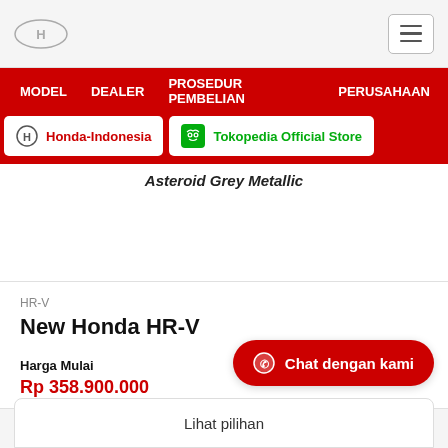Honda Indonesia website header with hamburger menu
MODEL  DEALER  PROSEDUR PEMBELIAN  PERUSAHAAN
Honda-Indonesia  Tokopedia Official Store
Asteroid Grey Metallic
HR-V
New Honda HR-V
Harga Mulai
Rp 358.900.000
Chat dengan kami
Lihat pilihan